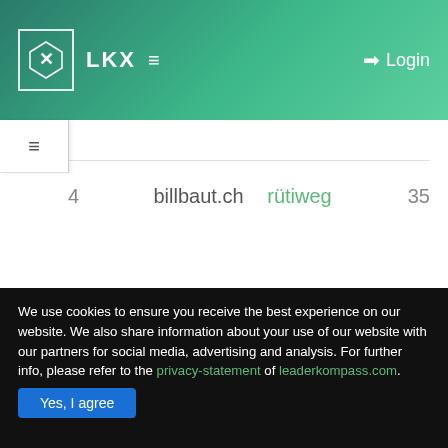LKX ≡  Login
4   billbaut.ch   rütiweg   35
We use cookies to ensure you receive the best experience on our website. We also share information about your use of our website with our partners for social media, advertising and analysis. For further info, please refer to the privacy-statement of leaderkompass.com.
Yes, I agree